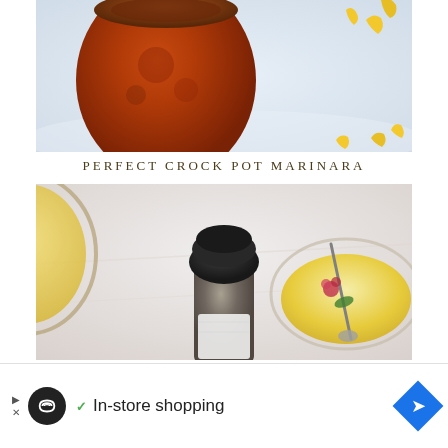[Figure (photo): Close-up photo of a jar of red marinara sauce with yellow pasta pieces scattered on a white surface]
PERFECT CROCK POT MARINARA
[Figure (photo): Close-up photo of a dark-capped olive oil bottle with jars of yellow liquid and herbs in the background on a marble surface]
In-store shopping